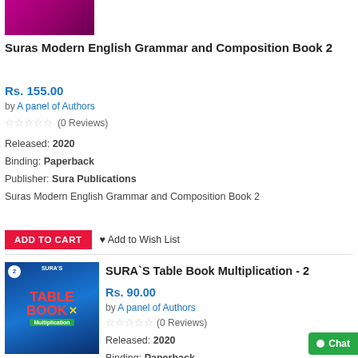[Figure (photo): Book cover thumbnail for Suras Modern English Grammar and Composition Book 2, pink/magenta background with decorative elements]
Suras Modern English Grammar and Composition Book 2
Rs. 155.00
by A panel of Authors
(0 Reviews)
Released: 2020
Binding: Paperback
Publisher: Sura Publications
Suras Modern English Grammar and Composition Book 2
ADD TO CART   Add to Wish List
[Figure (photo): Book cover for SURA'S Table Book Multiplication - 2, blue background with cartoon girl, math symbols and TABLE BOOK MULTIPLICATION text]
SURA`S Table Book Multiplication - 2
Rs. 90.00
by A panel of Authors
(0 Reviews)
Released: 2020
Binding: Paperback